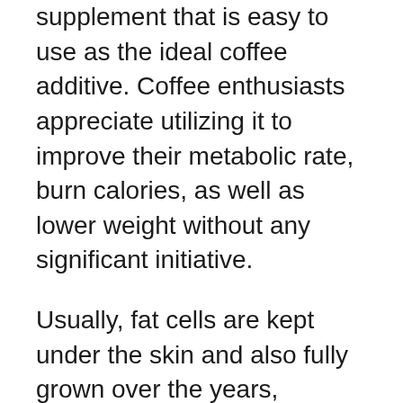supplement that is easy to use as the ideal coffee additive. Coffee enthusiasts appreciate utilizing it to improve their metabolic rate, burn calories, as well as lower weight without any significant initiative.
Usually, fat cells are kept under the skin and also fully grown over the years, forming fat layers. These layers end up being difficult to eliminate, leaving the only option of surgical fat removal. In easy words, when these fat cells stay extra, these layers solidify under the skin bring about obesity.
It is still possible to shed this fat with dietary and also way of life changes, but that is a long procedure. Some people can dissolve